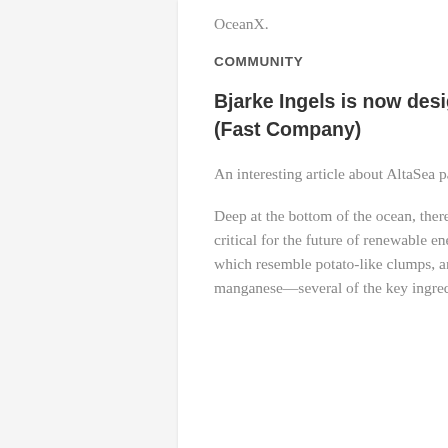OceanX.
COMMUNITY
Bjarke Ingels is now designing underwater robots (Fast Company)
An interesting article about AltaSea partner, The Metals Company!
Deep at the bottom of the ocean, there are vast fields of metal that could be critical for the future of renewable energy. The polymetallic nodules, which resemble potato-like clumps, are rich in nickel, cobalt, copper, and manganese—several of the key ingredients in lithium ion batteries,